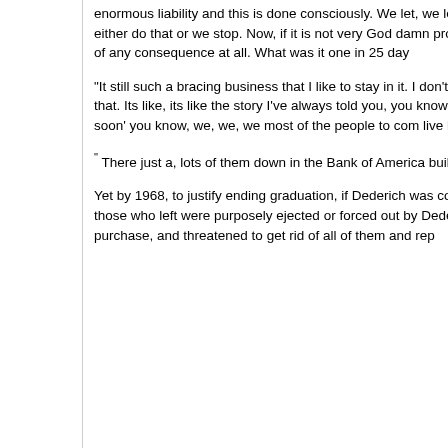enormous liability and this is done consciously. We let, we let crazy people in. Any dammed fool who wants to come in and say I'd like to live with you and business. We either do that or we stop. Now, if it is not very God damn profita. But it is a calculated risk we take. It's a calculated risk. We know that a, that a stay long enough to be of any consequence at all. What was it one in 25 day
“It still such a bracing business that I like to stay in it. I don’t have to stay in it business to watch these assholes come in and fall all over themselves and tr fun, to watch that. Its like, its like the story I’ve always told you, you know abo looking out the window of his office and down in the big yard and saying, ‘Co fuck each other pretty soon’ you know, we, we, we most of the people to com live here and turn out to be very, very real crazy people. Real crazy people. I find another business.
“ There just a, lots of them down in the Bank of America building in San Fran offices throughout the country, the streets, the ghettos, the penitentiaries. It’s
Yet by 1968, to justify ending graduation, if Dederich was correct, there was b only 1000 out of the 12,000 claimed to have entered were there and leaving t many of those who left were purposely ejected or forced out by Dederich “sq Dederich, in his “The Wrath of God” speech accused addicts of stabbing him apartment complex purchase, and threatened to get rid of all of them and rep